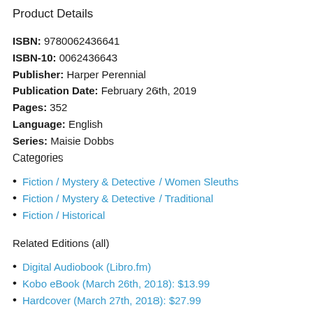Product Details
ISBN: 9780062436641
ISBN-10: 0062436643
Publisher: Harper Perennial
Publication Date: February 26th, 2019
Pages: 352
Language: English
Series: Maisie Dobbs
Categories
Fiction / Mystery & Detective / Women Sleuths
Fiction / Mystery & Detective / Traditional
Fiction / Historical
Related Editions (all)
Digital Audiobook (Libro.fm)
Kobo eBook (March 26th, 2018): $13.99